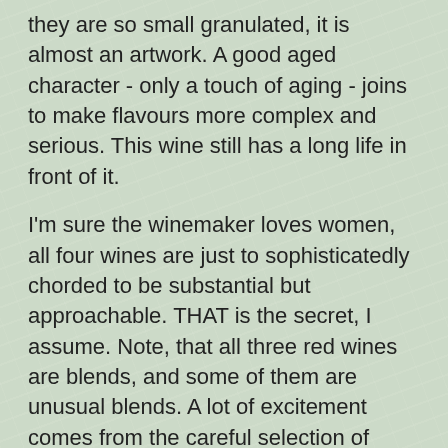they are so small granulated, it is almost an artwork. A good aged character - only a touch of aging - joins to make flavours more complex and serious. This wine still has a long life in front of it.
I'm sure the winemaker loves women, all four wines are just to sophisticatedly chorded to be substantial but approachable. THAT is the secret, I assume. Note, that all three red wines are blends, and some of them are unusual blends. A lot of excitement comes from the careful selection of blending percentages. This is why all wines are so similar in style.
My best wishes for the future, however I heard that 2015 was not a great year in Israel. Still, I have no doubt Seahorse Winery will successfully overcome those difficulties to come out with wines of same quality as what I have just tasted.